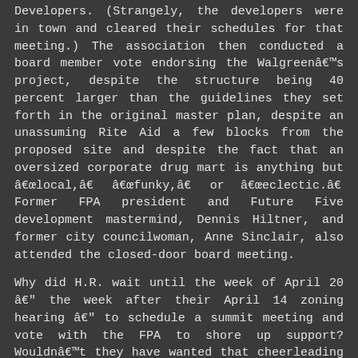Developers. (Strangely, the developers were in town and cleared their schedules for that meeting.) The association then conducted a board member vote endorsing the Walgreen’s project, despite the structure being 40 percent larger than the guidelines they set forth in the original master plan, despite an unassuming Rite Aid a few blocks from the proposed site and despite the fact that an oversized corporate drug mart is anything but “local,” “funky,” or “eclectic.” Former FPA president and Future Five development mastermind, Dennis Hiltner, and former city councilwoman, Anne Sinclair, also attended the closed-door board meeting.
Why did H.R. wait until the week of April 20 – the week after their April 14 zoning hearing – to schedule a summit meeting and vote with the FPA to shore up support? Wouldn’t they have wanted that cheerleading section at the original hearing? Unless they had planned to miss the April 14, 2009 meeting all along.
In lieu of the original master plan, perhaps their Plan B was to sue and settle with the City of Columbia at a later date.